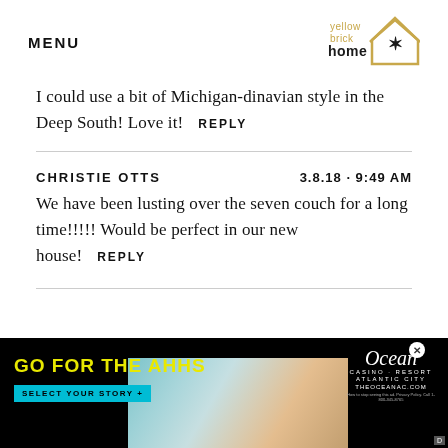MENU | yellow brick home (logo)
I could use a bit of Michigan-dinavian style in the Deep South! Love it!  REPLY
CHRISTIE OTTS   3.8.18 · 9:49 AM
We have been lusting over the seven couch for a long time!!!!! Would be perfect in our new house!  REPLY
[Figure (infographic): Advertisement banner for Ocean Casino Resort Atlantic City. Yellow bold text 'GO FOR THE AHHS', teal button 'SELECT YOUR STORY +', background photo of woman receiving spa treatment, Ocean Casino Resort logo with close button, THEOCEANAC.COM URL.]